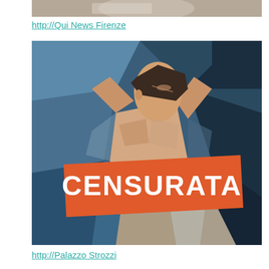[Figure (photo): Partial top of a painting/photo, cropped, showing upper portion of artwork]
http://Qui News Firenze
[Figure (illustration): Cubist-style painting of a nude figure with arms raised, overlaid with an orange banner reading 'CENSURATA' in white bold text]
http://Palazzo Strozzi